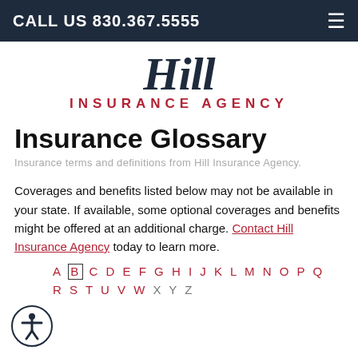CALL US 830.367.5555
[Figure (logo): Hill Insurance Agency logo with cursive 'Hill' in dark navy and 'INSURANCE AGENCY' in red capital letters below]
Insurance Glossary
Insurance terms and definitions from Hill Insurance Agency.
Coverages and benefits listed below may not be available in your state. If available, some optional coverages and benefits might be offered at an additional charge. Contact Hill Insurance Agency today to learn more.
A B C D E F G H I J K L M N O P Q R S T U V W X Y Z